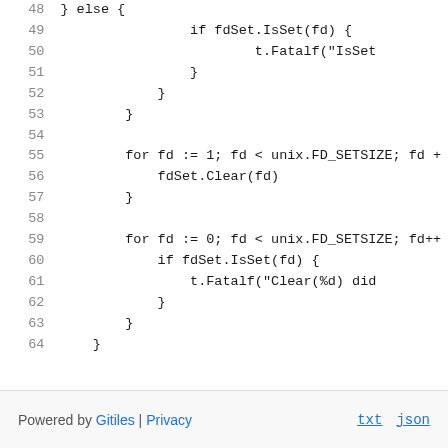[Figure (screenshot): Source code viewer showing Go code lines 48-64 with line numbers on the left and code on the right, showing nested for loops and conditionals with fdSet operations.]
Powered by Gitiles | Privacy    txt  json